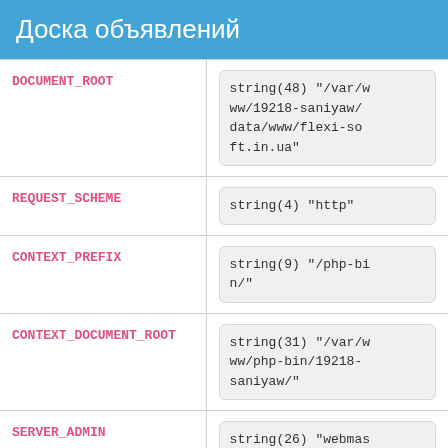Доска объявлений
| Key | Value |
| --- | --- |
| DOCUMENT_ROOT | string(48) "/var/www/19218-saniyaw/data/www/flexi-soft.in.ua" |
| REQUEST_SCHEME | string(4) "http" |
| CONTEXT_PREFIX | string(9) "/php-bin/" |
| CONTEXT_DOCUMENT_ROOT | string(31) "/var/www/php-bin/19218-saniyaw/" |
| SERVER_ADMIN | string(26) "webmaster@flexi-soft.i |